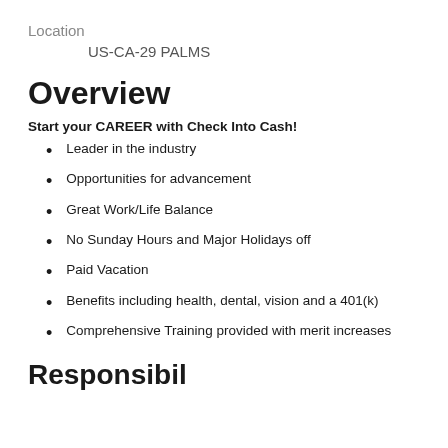Location
US-CA-29 PALMS
Overview
Start your CAREER with Check Into Cash!
Leader in the industry
Opportunities for advancement
Great Work/Life Balance
No Sunday Hours and Major Holidays off
Paid Vacation
Benefits including health, dental, vision and a 401(k)
Comprehensive Training provided with merit increases
Responsibilities